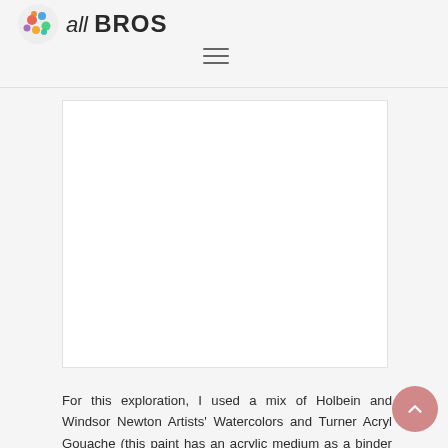all BROS
[Figure (other): White rectangular content/image placeholder area]
For this exploration, I used a mix of Holbein and Windsor Newton Artists' Watercolors and Turner Acryl Gouache (this paint has an acrylic medium as a binder and dries permanently). I did my best to choose similar palettes in each